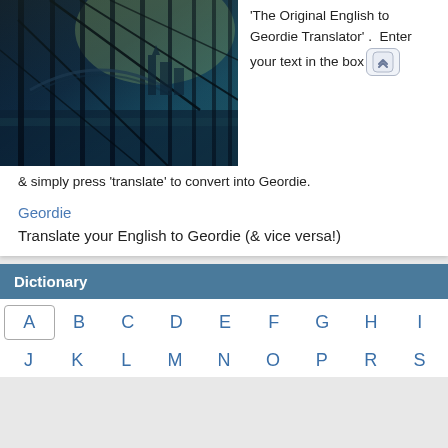[Figure (photo): Photo of a city skyline and bridge viewed through large glass panels/windows with structural steel frames, tinted in dark blue-green tones.]
'The Original English to Geordie Translator'. Enter your text in the box & simply press 'translate' to convert into Geordie.
Geordie
Translate your English to Geordie (& vice versa!)
Dictionary
A  B  C  D  E  F  G  H  I
J  K  L  M  N  O  P  R  S